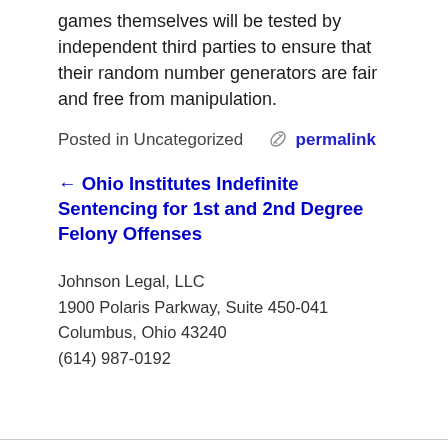games themselves will be tested by independent third parties to ensure that their random number generators are fair and free from manipulation.
Posted in Uncategorized   🔗 permalink
← Ohio Institutes Indefinite Sentencing for 1st and 2nd Degree Felony Offenses
Johnson Legal, LLC
1900 Polaris Parkway, Suite 450-041
Columbus, Ohio 43240
(614) 987-0192